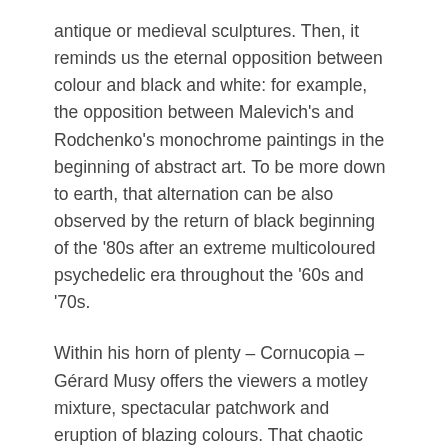antique or medieval sculptures. Then, it reminds us the eternal opposition between colour and black and white: for example, the opposition between Malevich's and Rodchenko's monochrome paintings in the beginning of abstract art. To be more down to earth, that alternation can be also observed by the return of black beginning of the ‘80s after an extreme multicoloured psychedelic era throughout the ‘60s and ‘70s.
Within his horn of plenty – Cornucopia – Gérard Musy offers the viewers a motley mixture, spectacular patchwork and eruption of blazing colours. That chaotic effect is even enhanced by assembling four mirroring photographs within the same frame.
Photography is thus reflection of life and energy.
Select: 5 that attend offer...